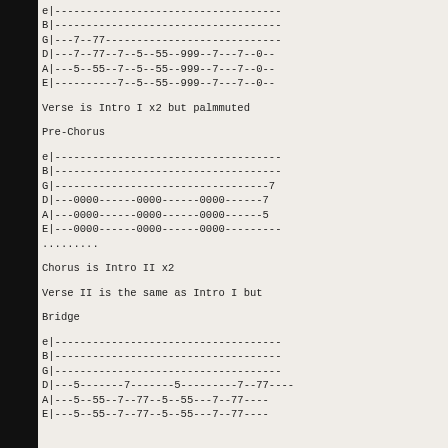[Figure (other): Guitar tablature showing intro section with strings e, B, G, D, A, E and fret numbers]
Verse is Intro I x2 but palmmuted
Pre-Chorus
[Figure (other): Guitar tablature showing pre-chorus section with strings e, B, G, D, A, E and fret numbers including 0000 patterns]
.........
Chorus is Intro II x2
Verse II is the same as Intro I but
Bridge
[Figure (other): Guitar tablature showing bridge section with strings e, B, G, D, A, E and fret numbers 5, 7, 55, 77 patterns]